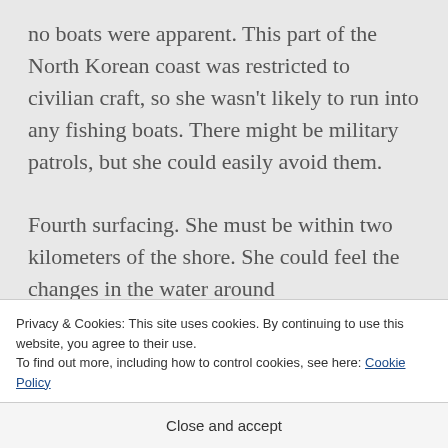no boats were apparent. This part of the North Korean coast was restricted to civilian craft, so she wasn't likely to run into any fishing boats. There might be military patrols, but she could easily avoid them.

Fourth surfacing. She must be within two kilometers of the shore. She could feel the changes in the water around
Privacy & Cookies: This site uses cookies. By continuing to use this website, you agree to their use.
To find out more, including how to control cookies, see here: Cookie Policy
Close and accept